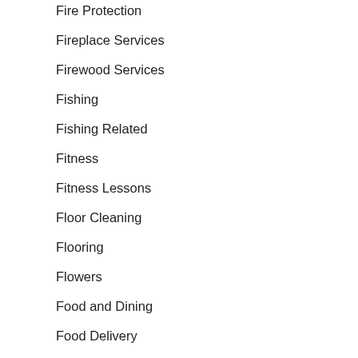Fire Protection
Fireplace Services
Firewood Services
Fishing
Fishing Related
Fitness
Fitness Lessons
Floor Cleaning
Flooring
Flowers
Food and Dining
Food Delivery
Foundation Repair
Foundations
Freelancers
Fundraising